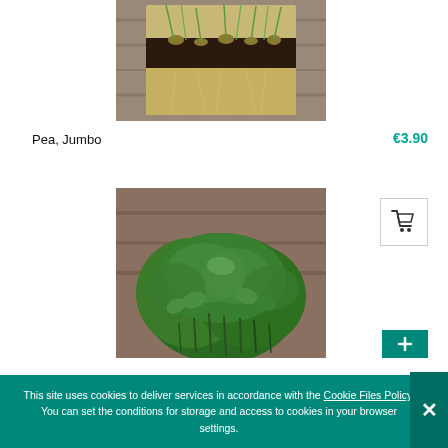[Figure (photo): Photo of pea microgreen sprouts in a transparent container showing roots and soil on a wooden surface, viewed from above/side]
Pea, Jumbo
€3.90
[Figure (photo): Photo of a bunch of fresh pea microgreens/shoots with green leaves on a wooden background]
This site uses cookies to deliver services in accordance with the Cookie Files Policy. You can set the conditions for storage and access to cookies in your browser settings.